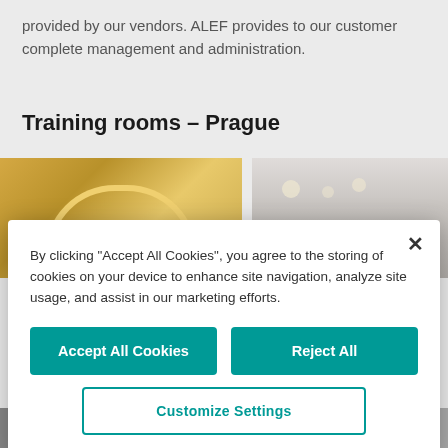provided by our vendors. ALEF provides to our customer complete management and administration.
Training rooms – Prague
[Figure (photo): Photo of a training room with illuminated arch/rounded ceiling feature in gold/yellow tones]
[Figure (photo): Photo of a training room ceiling with recessed lighting and air conditioning unit]
By clicking "Accept All Cookies", you agree to the storing of cookies on your device to enhance site navigation, analyze site usage, and assist in our marketing efforts.